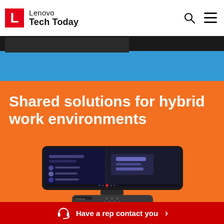Lenovo Tech Today
Shared solutions for hybrid work environments
[Figure (photo): A Lenovo ThinkSmart conference room device with a touchscreen showing a Microsoft Teams interface, sitting on a hub/speaker base, displayed on an orange background.]
Have a rep contact you >